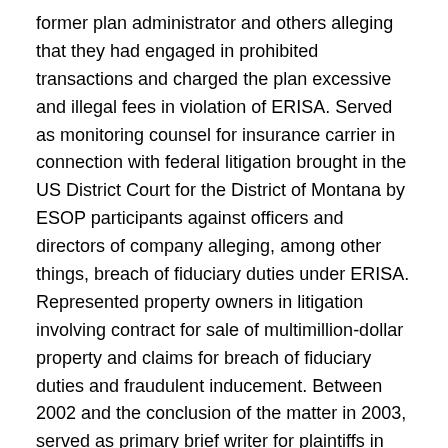former plan administrator and others alleging that they had engaged in prohibited transactions and charged the plan excessive and illegal fees in violation of ERISA. Served as monitoring counsel for insurance carrier in connection with federal litigation brought in the US District Court for the District of Montana by ESOP participants against officers and directors of company alleging, among other things, breach of fiduciary duties under ERISA. Represented property owners in litigation involving contract for sale of multimillion-dollar property and claims for breach of fiduciary duties and fraudulent inducement. Between 2002 and the conclusion of the matter in 2003, served as primary brief writer for plaintiffs in Abernathy, et al. v. Monsanto, et al., a consolidated state court action brought on behalf of 3,500 Alabama residents for property damage and personal injuries in connection with